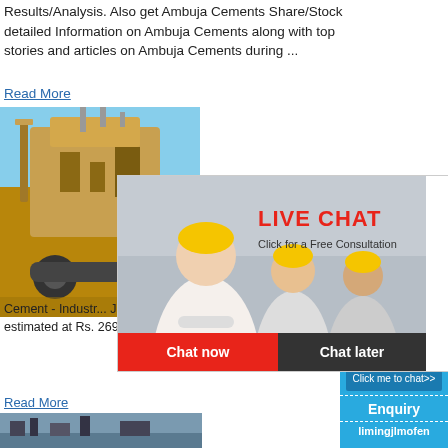Results/Analysis. Also get Ambuja Cements Share/Stock detailed Information on Ambuja Cements along with top stories and articles on Ambuja Cements during ...
Read More
[Figure (photo): Industrial machinery, large yellow equipment outdoors]
Cement - Industry ... Jammu Kashmir ... Samba district ... estimated at Rs. 269 million and is likely to end 2012.
Read More
[Figure (screenshot): Live chat popup overlay with people wearing hard hats. Shows LIVE CHAT heading, 'Click for a Free Consultation', Chat now and Chat later buttons]
[Figure (photo): Industrial plant/mining equipment in bottom left]
[Figure (screenshot): Right sidebar with blue background showing hour online, machine image, Click me to chat button, Enquiry section, limingjlmofen text]